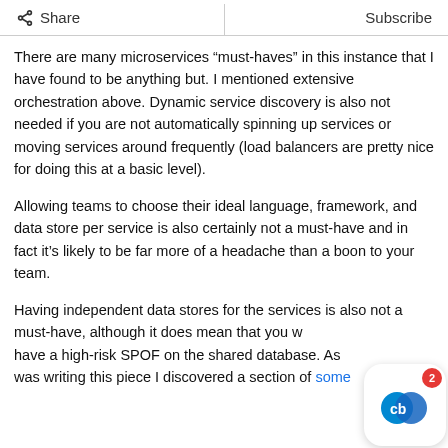Share  |  Subscribe
There are many microservices “must-haves” in this instance that I have found to be anything but. I mentioned extensive orchestration above. Dynamic service discovery is also not needed if you are not automatically spinning up services or moving services around frequently (load balancers are pretty nice for doing this at a basic level).
Allowing teams to choose their ideal language, framework, and data store per service is also certainly not a must-have and in fact it’s likely to be far more of a headache than a boon to your team.
Having independent data stores for the services is also not a must-have, although it does mean that you w… have a high-risk SPOF on the shared database. As… was writing this piece I discovered a section of some